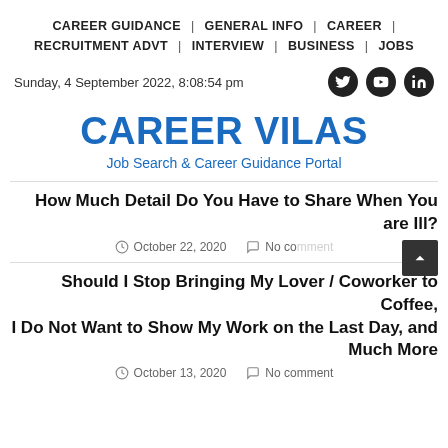CAREER GUIDANCE | GENERAL INFO | CAREER | RECRUITMENT ADVT | INTERVIEW | BUSINESS | JOBS
Sunday, 4 September 2022, 8:08:54 pm
CAREER VILAS
Job Search & Career Guidance Portal
How Much Detail Do You Have to Share When You are Ill?
October 22, 2020  No comment
Should I Stop Bringing My Lover / Coworker to Coffee, I Do Not Want to Show My Work on the Last Day, and Much More
October 13, 2020  No comment